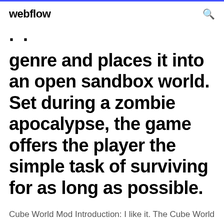webflow
. .
genre and places it into an open sandbox world. Set during a zombie apocalypse, the game offers the player the simple task of surviving for as long as possible.
Cube World Mod Introduction: I like it. The Cube World mod is glass cubes within the atmosphere, significantly above a limitless and huge sea listed below, glass cubes up in the sky. Cube World free download (cracked)! Download here the game for free and play for PC! Cracked by Codex, CPY and Skidrow! Free